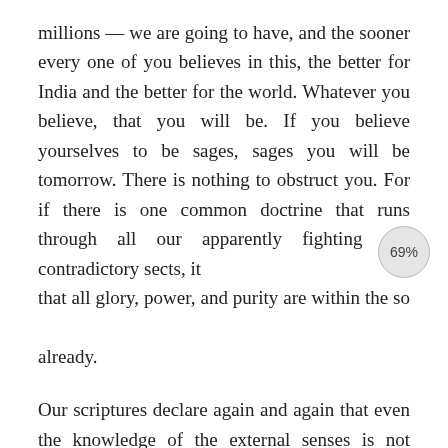millions — we are going to have, and the sooner every one of you believes in this, the better for India and the better for the world. Whatever you believe, that you will be. If you believe yourselves to be sages, sages you will be tomorrow. There is nothing to obstruct you. For if there is one common doctrine that runs through all our apparently fighting and contradictory sects, it that all glory, power, and purity are within the so already.
Our scriptures declare again and again that even the knowledge of the external senses is not religion. That is religion which makes us realise the Unchangeable One, and that is the religion for every one. He who realises transcendental truth, he who realises the Atman in his own nature, he who...